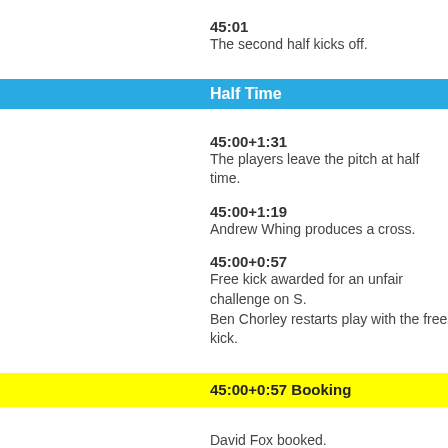45:01
The second half kicks off.
Half Time
45:00+1:31
The players leave the pitch at half time.
45:00+1:19
Andrew Whing produces a cross.
45:00+0:57
Free kick awarded for an unfair challenge on S. Ben Chorley restarts play with the free kick.
45:00+0:57 Booking
David Fox booked.
44:53
Jonathan Tehoue concedes a free kick for a fo. kick taken by Leon Barnett.